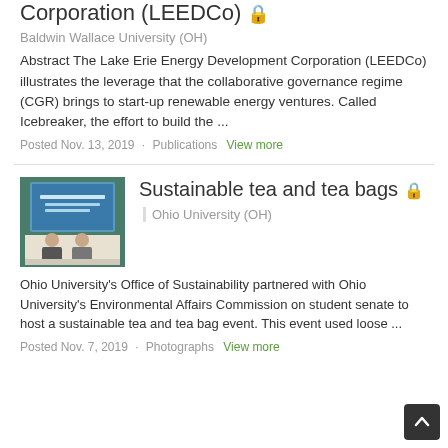Corporation (LEEDCo) 🔒
Baldwin Wallace University (OH)
Abstract The Lake Erie Energy Development Corporation (LEEDCo) illustrates the leverage that the collaborative governance regime (CGR) brings to start-up renewable energy ventures. Called Icebreaker, the effort to build the ...
Posted Nov. 13, 2019   Publications   View more
[Figure (photo): Two people sitting at a table in front of a presentation screen with 'Sustainable Tea Bags' text visible]
Sustainable tea and tea bags 🔒
Ohio University (OH)
Ohio University's Office of Sustainability partnered with Ohio University's Environmental Affairs Commission on student senate to host a sustainable tea and tea bag event. This event used loose ...
Posted Nov. 7, 2019   Photographs   View more